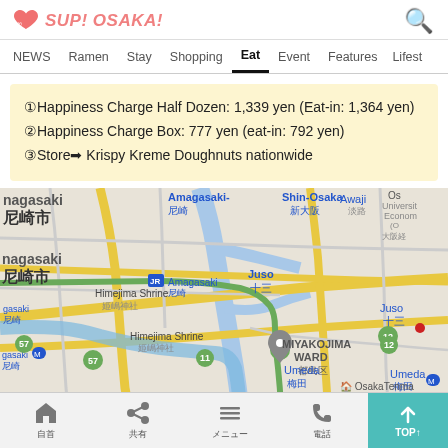SUP! OSAKA!
NEWS  Ramen  Stay  Shopping  Eat  Event  Features  Lifesty
①Happiness Charge Half Dozen: 1,339 yen (Eat-in: 1,364 yen)
②Happiness Charge Box: 777 yen (eat-in: 792 yen)
③Store➡ Krispy Kreme Doughnuts nationwide
[Figure (map): Google map showing Osaka area including landmarks: Shin-Osaka, Juso, Umeda, MIYAKOJIMA WARD, Himejima Shrine, Amagasaki, Awaji, Osaka Tenma. Shows 尼崎市 (Amagasaki City) area and surrounding districts.]
Home  Share  Menu  Phone  TOP↑